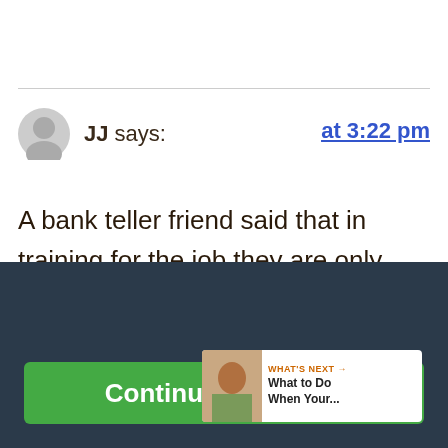JJ says:  at 3:22 pm
A bank teller friend said that in training for the job they are only allowed to handle real money at first. Then when they are given
This website tracks your activities. If you continue browsing the site, you're giving us consent to track your activity.
Continue Browsing
WHAT'S NEXT → What to Do When Your...